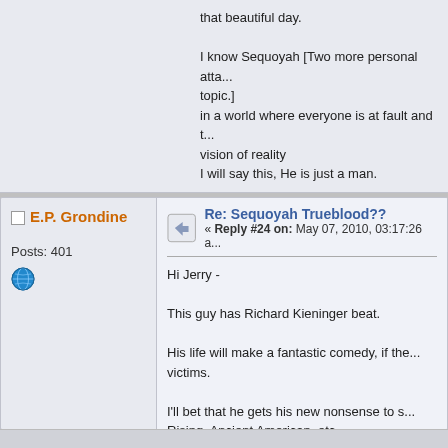that beautiful day.

I know Sequoyah [Two more personal attacks removed. Stay on topic.]
in a world where everyone is at fault and that is a somewhat distorted vision of reality
I will say this, He is just a man.
« Last Edit: May 07, 2010, 12:10:18 pm by educa...
E.P. Grondine
Re: Sequoyah Trueblood??
« Reply #24 on: May 07, 2010, 03:17:26 a...
Posts: 401
Hi Jerry -

This guy has Richard Kieninger beat.

His life will make a fantastic comedy, if the... victims.

I'll bet that he gets his new nonsense to s... Rising, Ancient American, etc.